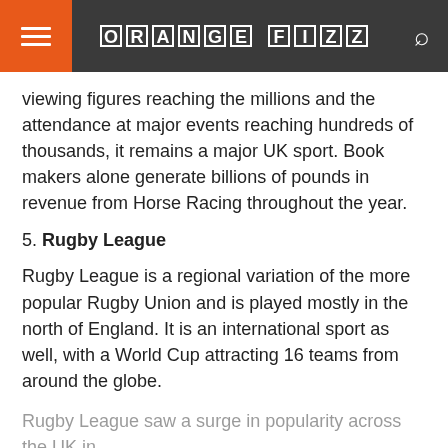ORANGE FIZZ
viewing figures reaching the millions and the attendance at major events reaching hundreds of thousands, it remains a major UK sport. Book makers alone generate billions of pounds in revenue from Horse Racing throughout the year.
5. Rugby League
Rugby League is a regional variation of the more popular Rugby Union and is played mostly in the north of England. It is an international sport as well, with a World Cup attracting 16 teams from around the globe.
Rugby League saw a surge in popularity across the UK in